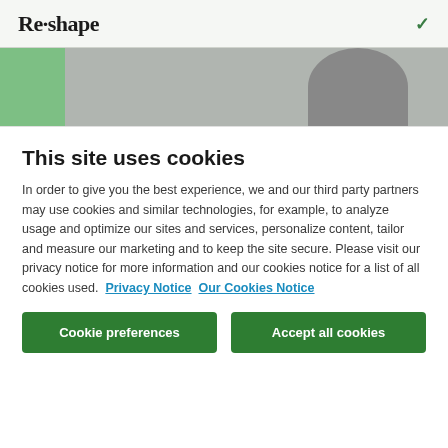Re·shape
[Figure (photo): Partial photo strip showing a green panel on the left and a grayscale office/studio scene with a person in the background on the right]
This site uses cookies
In order to give you the best experience, we and our third party partners may use cookies and similar technologies, for example, to analyze usage and optimize our sites and services, personalize content, tailor and measure our marketing and to keep the site secure. Please visit our privacy notice for more information and our cookies notice for a list of all cookies used.  Privacy Notice  Our Cookies Notice
Cookie preferences
Accept all cookies